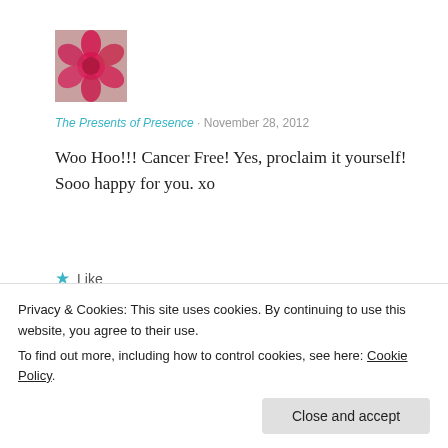[Figure (photo): Small square avatar image of a red flower/dahlia bloom]
The Presents of Presence · November 28, 2012
Woo Hoo!!! Cancer Free! Yes, proclaim it yourself! Sooo happy for you. xo
★ Like
Log in to Reply
[Figure (photo): Small square avatar image of green flowers/succulents]
Privacy & Cookies: This site uses cookies. By continuing to use this website, you agree to their use.
To find out more, including how to control cookies, see here: Cookie Policy
Close and accept